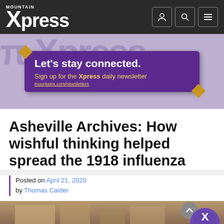Mountain Xpress
[Figure (infographic): Purple banner ad: Let's stay connected. Sign up for the Xpress daily newsletter. mountainx.com/newsletters]
Asheville Archives: How wishful thinking helped spread the 1918 influenza
Posted on April 21, 2020 by Thomas Calder
[Figure (photo): Sepia-toned historical photograph of a building exterior with people gathered outside]